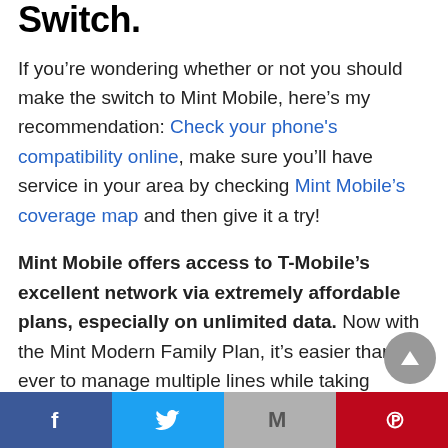Switch.
If you’re wondering whether or not you should make the switch to Mint Mobile, here’s my recommendation: Check your phone's compatibility online, make sure you’ll have service in your area by checking Mint Mobile’s coverage map and then give it a try!
Mint Mobile offers access to T-Mobile’s excellent network via extremely affordable plans, especially on unlimited data. Now with the Mint Modern Family Plan, it’s easier than ever to manage multiple lines while taking advantage of the savings, making it a great affordable option if
Facebook | Twitter | Gmail | Pinterest